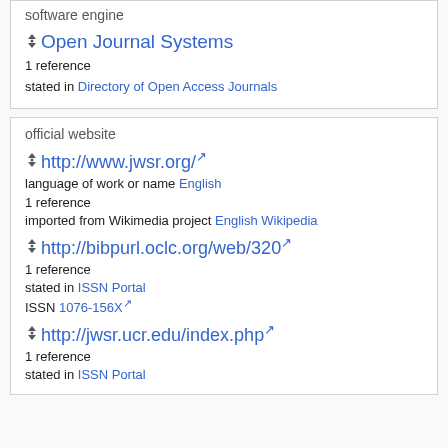software engine
Open Journal Systems
1 reference
stated in Directory of Open Access Journals
official website
http://www.jwsr.org/
language of work or name English
1 reference
imported from Wikimedia project English Wikipedia
http://bibpurl.oclc.org/web/320
1 reference
stated in ISSN Portal
ISSN 1076-156X
http://jwsr.ucr.edu/index.php
1 reference
stated in ISSN Portal